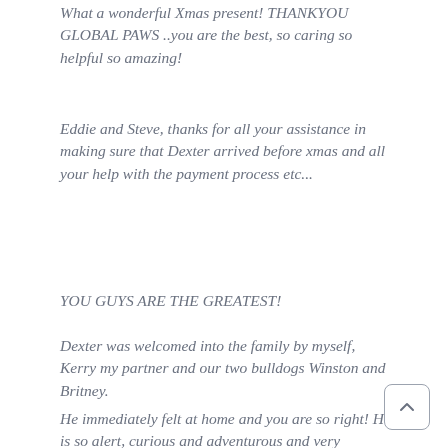What a wonderful Xmas present! THANKYOU GLOBAL PAWS ..you are the best, so caring so helpful so amazing!
Eddie and Steve, thanks for all your assistance in making sure that Dexter arrived before xmas and all your help with the payment process etc...
YOU GUYS ARE THE GREATEST!
Dexter was welcomed into the family by myself, Kerry my partner and our two bulldogs Winston and Britney.
He immediately felt at home and you are so right! He is so alert, curious and adventurous and very entertaining!
He has bonded with our male bulldog